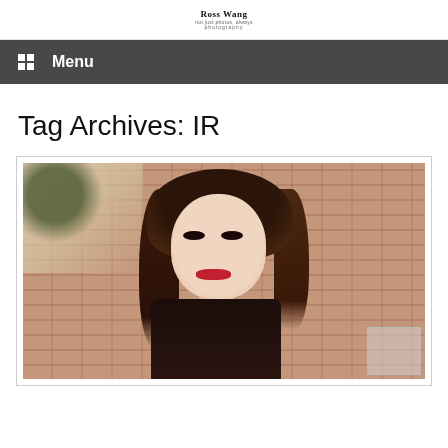Ross Wang Photography
Menu
Tag Archives: IR
[Figure (photo): Portrait photo of a young woman with dark hair and red lips, wearing a black lace outfit, standing in front of a brick wall with foliage in the background.]